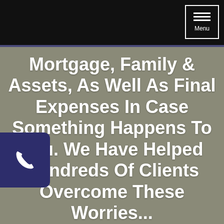Menu
Mortgage, Family & Assets, As Well As Final Expenses In Case Something Happens To You. We Have Helped Hundreds Of Clients Overcome These Worries... Let Us Change Your Life For The Better Too!